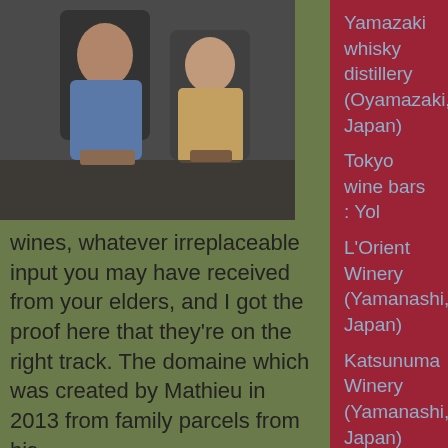[Figure (photo): A photo of two people, one wearing a blue jacket]
wines, whatever irreplaceable input you may have received from your elders, and I got the proof here that they're on the right track. The domaine which was created by Mathieu in 2013 from family parcels from his
Yamazaki whisky distillery (Oyamazaki, Japan)
Tokyo wine bars : Yol
L'Orient Winery (Yamanashi, Japan)
Katsunuma Winery (Yamanashi, Japan)
Chateau Lumière (Yamanashi, Japan)
Wine news (15) Japan 1
Daishichi brewery (Fukushima)
Rice & Sake
Water & Sake
Himonoya sake brewery (Nihonmatsu)
Paris wine bars : Vinos